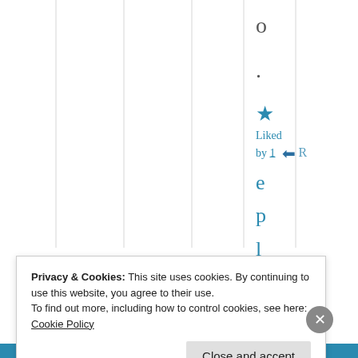o
.
★ Liked by 1 person Reply
Privacy & Cookies: This site uses cookies. By continuing to use this website, you agree to their use.
To find out more, including how to control cookies, see here: Cookie Policy
Close and accept